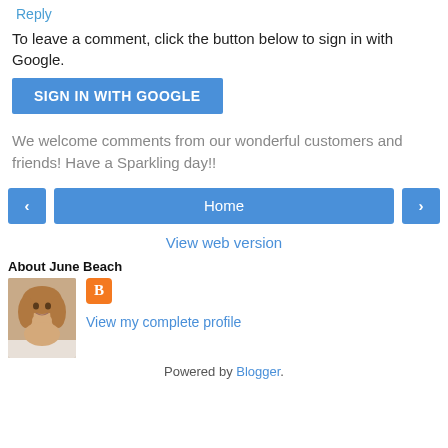Reply
To leave a comment, click the button below to sign in with Google.
SIGN IN WITH GOOGLE
We welcome comments from our wonderful customers and friends! Have a Sparkling day!!
‹
Home
›
View web version
About June Beach
[Figure (photo): Profile photo of a woman with blonde hair, smiling]
View my complete profile
Powered by Blogger.